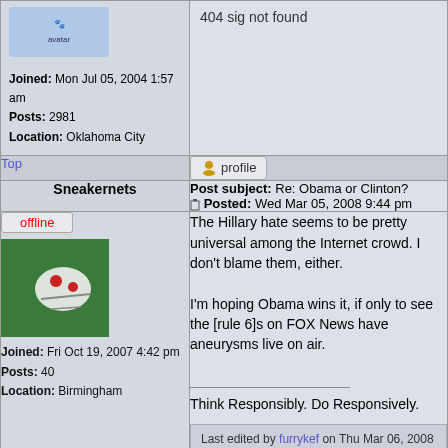404 sig not found
Joined: Mon Jul 05, 2004 1:57 am
Posts: 2981
Location: Oklahoma City
Top
[Figure (screenshot): Profile button with user icon]
Sneakernets
Post subject: Re: Obama or Clinton?
Posted: Wed Mar 05, 2008 9:44 pm
[Figure (illustration): Offline button and user avatar - green background with cartoon character]
Joined: Fri Oct 19, 2007 4:42 pm
Posts: 40
Location: Birmingham
The Hillary hate seems to be pretty universal among the Internet crowd. I don't blame them, either.

I'm hoping Obama wins it, if only to see the [rule 6]s on FOX News have aneurysms live on air.

Think Responsibly. Do Responsively.
Last edited by furrykef on Thu Mar 06, 2008 12:37 am, edited 1 time in total.
Rule 6